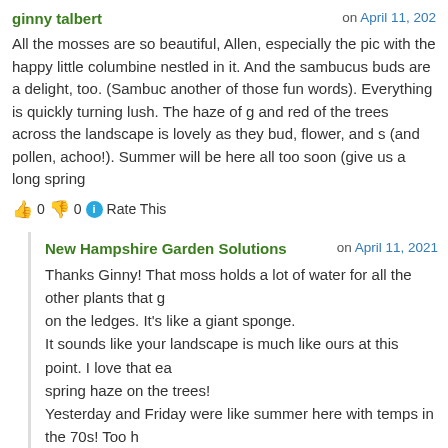ginny talbert — on April 11, 202...
All the mosses are so beautiful, Allen, especially the pic with the happy little columbine nestled in it. And the sambucus buds are a delight, too. (Sambucus — another of those fun words). Everything is quickly turning lush. The haze of g... and red of the trees across the landscape is lovely as they bud, flower, and s... (and pollen, achoo!). Summer will be here all too soon (give us a long spring...
👍 0 👎 0 ℹ️ Rate This
New Hampshire Garden Solutions — on April 11, 2021
Thanks Ginny! That moss holds a lot of water for all the other plants that g... on the ledges. It's like a giant sponge.
It sounds like your landscape is much like ours at this point. I love that ea... spring haze on the trees!
Yesterday and Friday were like summer here with temps in the 70s! Too h...
Like you, I'd rather have a long spring.
👍 0 👎 0 ℹ️ Rate This
Grace Cohen — on April 10, 2021
Wow – and THANK YOU! I just discovered your blog posts through a search... identify a plant. We see the world with similar eyes (and lenses!) and with si... passions. I deeply appreciate this post and look forward to following your...